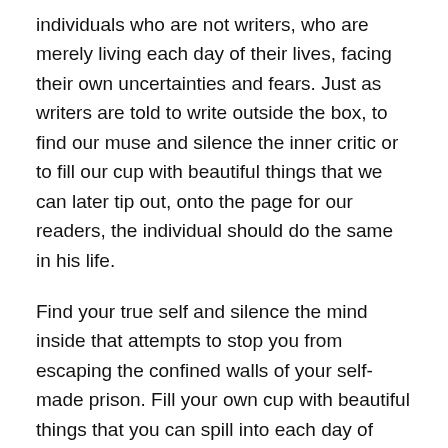individuals who are not writers, who are merely living each day of their lives, facing their own uncertainties and fears. Just as writers are told to write outside the box, to find our muse and silence the inner critic or to fill our cup with beautiful things that we can later tip out, onto the page for our readers, the individual should do the same in his life.
Find your true self and silence the mind inside that attempts to stop you from escaping the confined walls of your self-made prison. Fill your own cup with beautiful things that you can spill into each day of your life, for yourself and for your loved ones, and for everyone else to whom we are spiritually connected.
Take chances. Dare yourself. Fill your blank pages with beautiful and adventurous stories. Trust in your muse, and